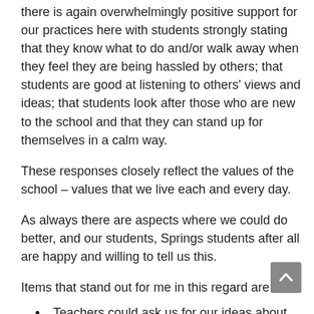there is again overwhelmingly positive support for our practices here with students strongly stating that they know what to do and/or walk away when they feel they are being hassled by others; that students are good at listening to others' views and ideas; that students look after those who are new to the school and that they can stand up for themselves in a calm way.
These responses closely reflect the values of the school – values that we live each and every day.
As always there are aspects where we could do better, and our students, Springs students after all are happy and willing to tell us this.
Items that stand out for me in this regard are:
Teachers could ask us for our ideas about how students could get on better with each other.
Being taught how to better manage feelings if I get